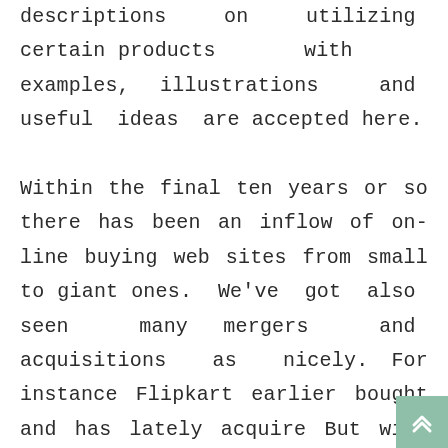descriptions on utilizing certain products with examples, illustrations and useful ideas are accepted here. Within the final ten years or so there has been an inflow of on-line buying web sites from small to giant ones. We've got also seen many mergers and acquisitions as nicely. For instance Flipkart earlier bought and has lately acquire But with the entry of Amazon there isn't any clear winner right here. Also